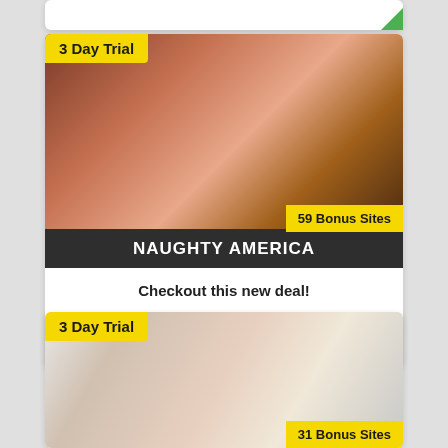[Figure (screenshot): Top partial card showing bottom edge of a previous listing with green corner accent]
[Figure (screenshot): Adult content subscription card for Naughty America with '3 Day Trial' badge and '59 Bonus Sites' badge, showing promotional image]
NAUGHTY AMERICA
Checkout this new deal!
$1.95  $29.95
[Figure (screenshot): Second adult content subscription card with '3 Day Trial' badge and '31 Bonus Sites' badge, partially visible at bottom]